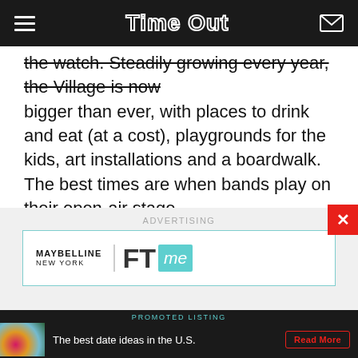Time Out
the watch. Steadily growing every year, the Village is now bigger than ever, with places to drink and eat (at a cost), playgrounds for the kids, art installations and a boardwalk. The best times are when bands play on their open-air stage.
Price: Free
ADVERTISING
[Figure (other): Maybelline New York Fit Me advertisement banner]
PROMOTED LISTING
The best date ideas in the U.S.
Read More